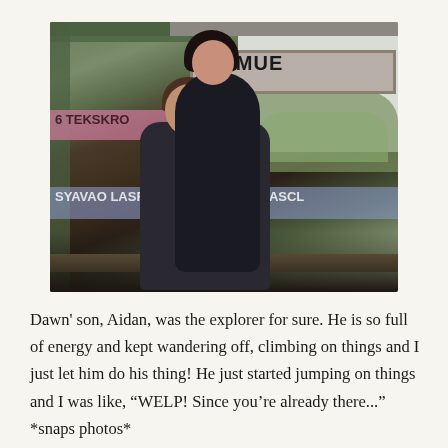[Figure (photo): A couple sitting together on a metal bridge structure covered in graffiti. A woman in a black dress with dark hair stands/leans over a man with brown hair wearing a dark shirt and jeans. Graffiti on the walls and beams behind them reads '93 MILE' and other tags. The background shows green trees and an overcast sky.]
Dawn' son, Aidan, was the explorer for sure. He is so full of energy and kept wandering off, climbing on things and I just let him do his thing! He just started jumping on things and I was like, “WELP! Since you’re already there...” *snaps photos*